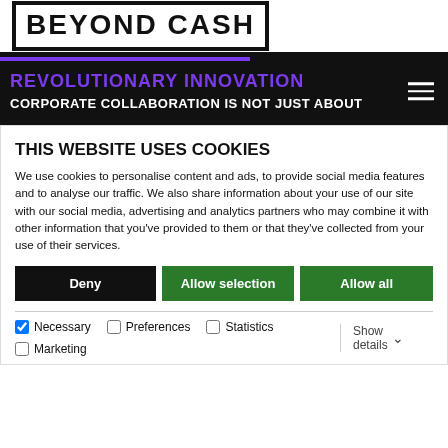BEYOND CASH
REVOLUTIONARY INNOVATION
CORPORATE COLLABORATION IS NOT JUST ABOUT
THIS WEBSITE USES COOKIES
We use cookies to personalise content and ads, to provide social media features and to analyse our traffic. We also share information about your use of our site with our social media, advertising and analytics partners who may combine it with other information that you've provided to them or that they've collected from your use of their services.
Deny | Allow selection | Allow all
Necessary | Preferences | Statistics | Marketing | Show details